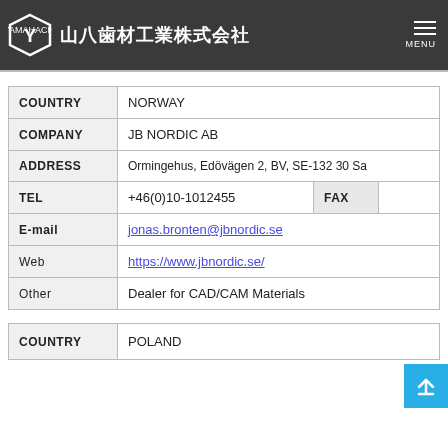山八歯材工業株式会社
| Field | Value |
| --- | --- |
| COUNTRY | NORWAY |
| COMPANY | JB NORDIC AB |
| ADDRESS | Ormingehus, Edövägen 2, BV, SE-132 30 Sa |
| TEL | +46(0)10-1012455 | FAX | |
| E-mail | jonas.bronten@jbnordic.se |
| Web | https://www.jbnordic.se/ |
| Other | Dealer for CAD/CAM Materials |
| Field | Value |
| --- | --- |
| COUNTRY | POLAND |